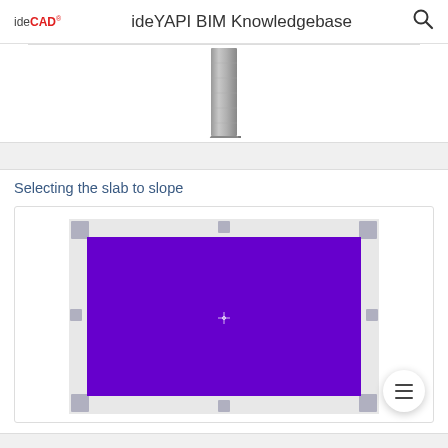ideCAD  ideYAPI BIM Knowledgebase
[Figure (screenshot): 3D view of a concrete column element shown from above, rendered in gray stone texture, cropped at top]
Selecting the slab to slope
[Figure (screenshot): Top-down 2D view of a rectangular slab selected/highlighted in bright purple/violet color, with gray corner handles at each corner, and a small crosshair cursor in the center]